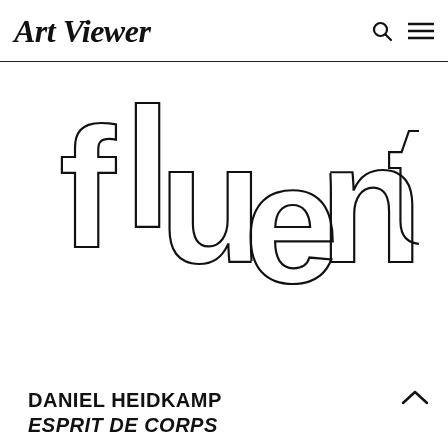Art Viewer
[Figure (illustration): Large outlined/stroked text reading 'fluent' in a tall, wide display typeface with no fill — just outlines — arranged slightly staggered on a white background.]
DANIEL HEIDKAMP
ESPRIT DE CORPS